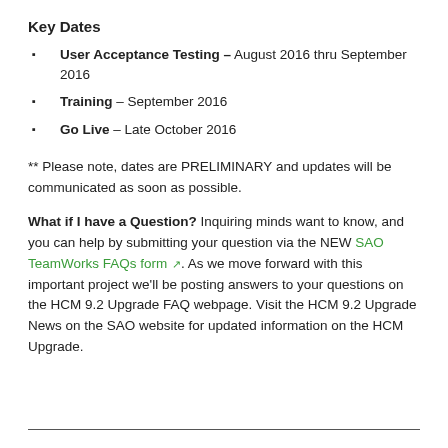Key Dates
User Acceptance Testing – August 2016 thru September 2016
Training – September 2016
Go Live – Late October 2016
** Please note, dates are PRELIMINARY and updates will be communicated as soon as possible.
What if I have a Question? Inquiring minds want to know, and you can help by submitting your question via the NEW SAO TeamWorks FAQs form. As we move forward with this important project we'll be posting answers to your questions on the HCM 9.2 Upgrade FAQ webpage. Visit the HCM 9.2 Upgrade News on the SAO website for updated information on the HCM Upgrade.